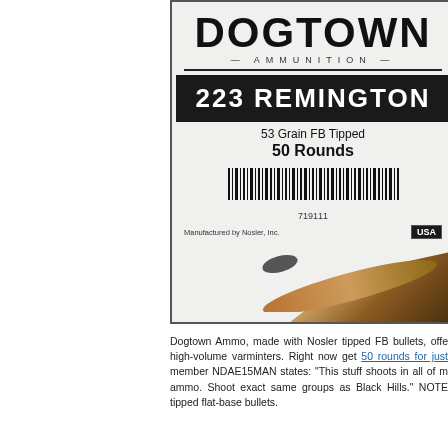[Figure (photo): Product photo of Dogtown Ammunition box for 223 Remington, 53 Grain FB Tipped, 50 Rounds, barcode 719111, manufactured by Nosler Inc., with a bullet visible in the lower right corner]
Dogtown Ammo, made with Nosler tipped FB bullets, offers high-volume varminters. Right now get 50 rounds for just member NDAE15MAN states: "This stuff shoots in all of my ammo. Shoot exact same groups as Black Hills." NOTE tipped flat-base bullets.